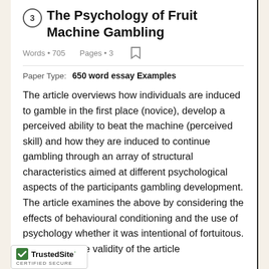3 The Psychology of Fruit Machine Gambling
Words • 705    Pages • 3
Paper Type:    650 word essay Examples
The article overviews how individuals are induced to gamble in the first place (novice), develop a perceived ability to beat the machine (perceived skill) and how they are induced to continue gambling through an array of structural characteristics aimed at different psychological aspects of the participants gambling development. The article examines the above by considering the effects of behavioural conditioning and the use of psychology whether it was intentional of fortuitous. To consider the validity of the article